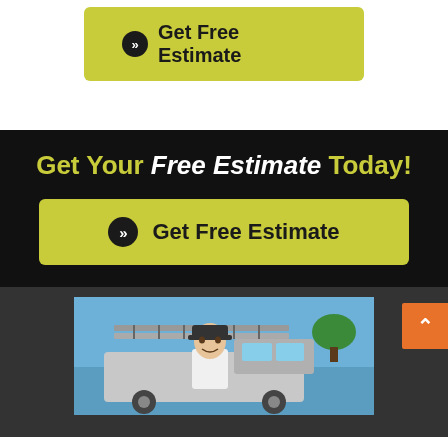[Figure (other): Yellow/olive green button with chevron icon reading 'Get Free Estimate' on white background]
Get Your Free Estimate Today!
[Figure (other): Large yellow/olive green button with chevron icon reading 'Get Free Estimate' on black background]
[Figure (photo): Man in baseball cap standing in front of a work truck with ladders on a sunny day, outdoor roofing/contractor scene]